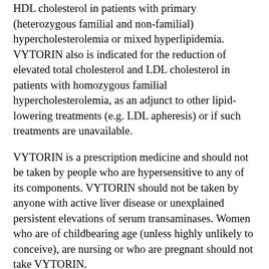HDL cholesterol in patients with primary (heterozygous familial and non-familial) hypercholesterolemia or mixed hyperlipidemia. VYTORIN also is indicated for the reduction of elevated total cholesterol and LDL cholesterol in patients with homozygous familial hypercholesterolemia, as an adjunct to other lipid-lowering treatments (e.g. LDL apheresis) or if such treatments are unavailable.
VYTORIN is a prescription medicine and should not be taken by people who are hypersensitive to any of its components. VYTORIN should not be taken by anyone with active liver disease or unexplained persistent elevations of serum transaminases. Women who are of childbearing age (unless highly unlikely to conceive), are nursing or who are pregnant should not take VYTORIN.
Selected cautionary information for VYTORIN
Muscle pain, tenderness or weakness in people taking